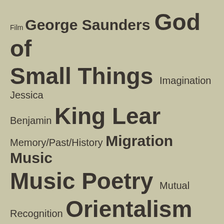[Figure (infographic): Tag cloud / word cloud on a tan/khaki background featuring literary and educational topics in varying font sizes indicating frequency or importance. Terms include: Film, George Saunders, God of Small Things, Imagination, Jessica, Benjamin, King Lear, Memory/Past/History, Migration, Music, Music Poetry, Mutual, Recognition, Orientalism, Poetry, Power and Identity, Power of Stories/Storytelling, Short Stories, Stranger]